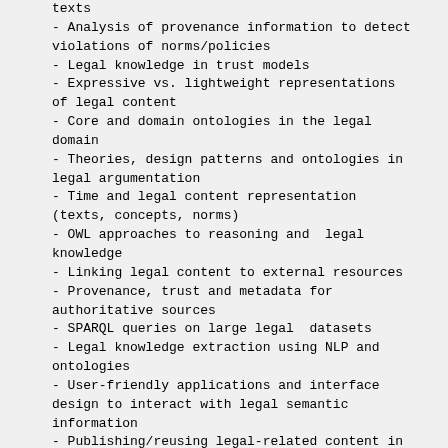texts
- Analysis of provenance information to detect violations of norms/policies
- Legal knowledge in trust models
- Expressive vs. lightweight representations of legal content
- Core and domain ontologies in the legal domain
- Theories, design patterns and ontologies in legal argumentation
- Time and legal content representation (texts, concepts, norms)
- OWL approaches to reasoning and  legal knowledge
- Linking legal content to external resources
- Provenance, trust and metadata for authoritative sources
- SPARQL queries on large legal  datasets
- Legal knowledge extraction using NLP and ontologies
- User-friendly applications and interface design to interact with legal semantic information
- Publishing/reusing legal-related content in Linked Data
- Legal semantic services and mobile applications
- Rules and Automated Reasoning in the Semantic Web
SUBMISSION INSTRUCTIONS